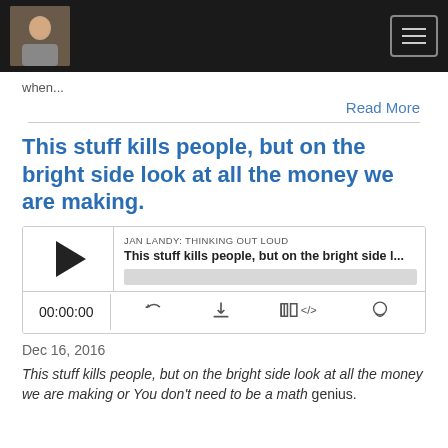Navigation bar with avatar and hamburger menu
when...
Read More
This stuff kills people, but on the bright side look at all the money we are making.
[Figure (other): Podcast player widget for Jan Landy: Thinking Out Loud episode titled 'This stuff kills people, but on the bright side l...' with play button, progress bar, timestamp 00:00:00, and media control icons]
Dec 16, 2016
This stuff kills people, but on the bright side look at all the money we are making or You don't need to be a math genius.